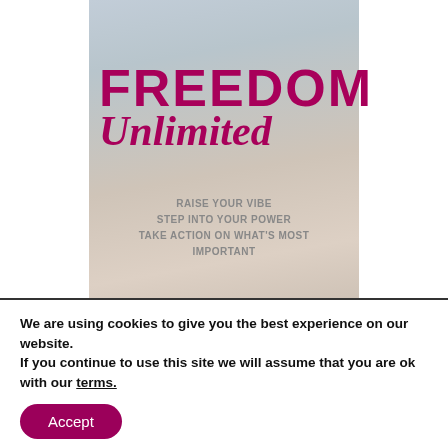[Figure (illustration): Promotional image for 'Freedom Unlimited' with text overlaid on a photo of a woman. Shows 'FREEDOM' in bold magenta uppercase letters, 'Unlimited' in magenta italic script, and taglines: 'RAISE YOUR VIBE', 'STEP INTO YOUR POWER', 'TAKE ACTION ON WHAT'S MOST IMPORTANT']
[Figure (other): Magenta download button with white text 'DOWNLOAD']
We are using cookies to give you the best experience on our website.
If you continue to use this site we will assume that you are ok with our terms.
Accept